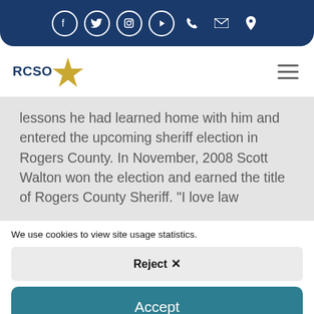RCSO social media and contact icons navigation bar
[Figure (screenshot): RCSO logo with star in gold and navy text]
lessons he had learned home with him and entered the upcoming sheriff election in Rogers County. In November, 2008 Scott Walton won the election and earned the title of Rogers County Sheriff.  "I love law
We use cookies to view site usage statistics.
Reject ✕
Accept
Cookie Policy  Privacy Statement